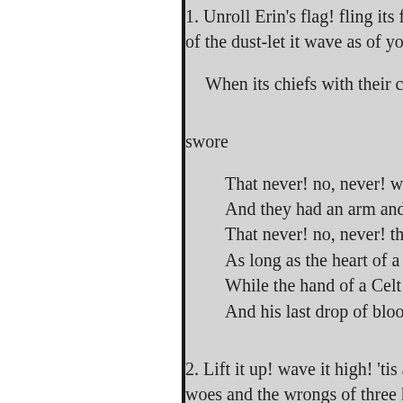1. Unroll Erin's flag! fling its fol of the dust-let it wave as of yore

    When its chiefs with their clar

swore

        That never! no, never! whil
        And they had an arm and a
        That never! no, never! that
        As long as the heart of a Ce
        While the hand of a Celt ha
        And his last drop of blood w

2. Lift it up! wave it high! 'tis as woes and the wrongs of three hu

years

    Have drenched Erin's Sunb
        tears!

    Though the clouds of oppre
    And around it the thunders
    Look aloft! look aloft! lo! t
    There's a gleam through th